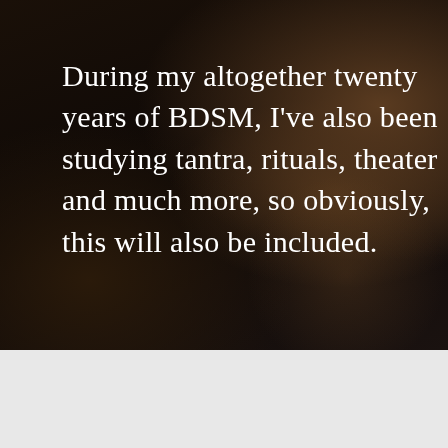[Figure (photo): Dark moody photograph showing hands touching in low light, very dark background with warm tones on the right side]
During my altogether twenty years of BDSM, I've also been studying tantra, rituals, theater and much more, so obviously, this will also be included.